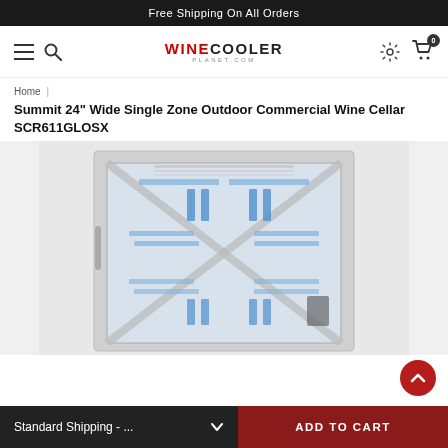Free Shipping On All Orders
[Figure (logo): WineCooler Planet.com logo with hamburger menu, search icon, gear icon, and cart icon with badge 0]
Home | Summit 24" Wide Single Zone Outdoor Commercial Wine Cellar SCR611GLOSX
Summit 24" Wide Single Zone Outdoor Commercial Wine Cellar SCR611GLOSX
[Figure (photo): Summit wine cooler with glass door showing interior shelves with blue LED lighting and stainless steel frame, viewed from front angle]
Standard Shipping - ...   ADD TO CART